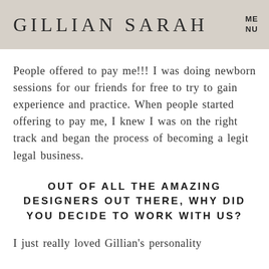GILLIAN SARAH   MENU
People offered to pay me!!! I was doing newborn sessions for our friends for free to try to gain experience and practice. When people started offering to pay me, I knew I was on the right track and began the process of becoming a legit legal business.
OUT OF ALL THE AMAZING DESIGNERS OUT THERE, WHY DID YOU DECIDE TO WORK WITH US?
I just really loved Gillian's personality